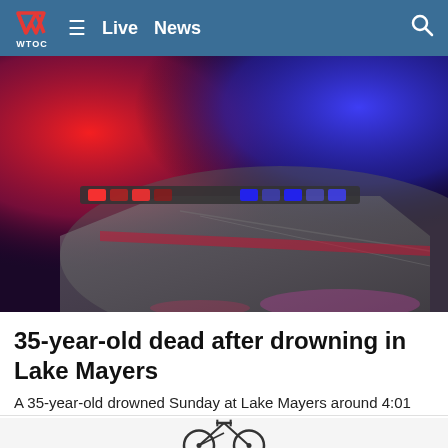WTOC — Live  News
[Figure (photo): Close-up of police car roof with red and blue emergency lights flashing against a dark background]
35-year-old dead after drowning in Lake Mayers
A 35-year-old drowned Sunday at Lake Mayers around 4:01 p.m.
WTOC
[Figure (photo): Partial view of a bicycle handlebar and wheel at bottom of page]